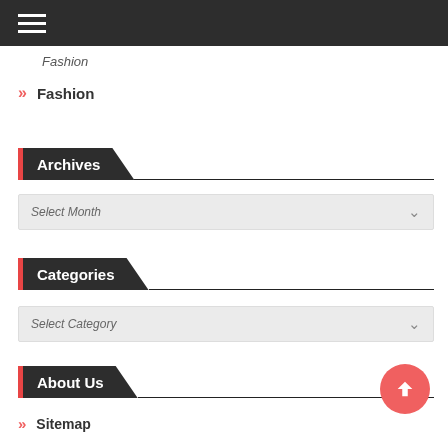Fashion
» Fashion
Archives
Select Month
Categories
Select Category
About Us
» Sitemap